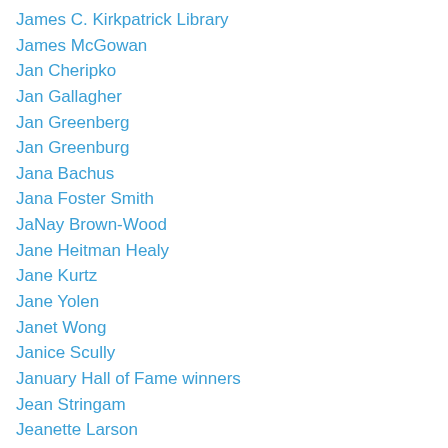James C. Kirkpatrick Library
James McGowan
Jan Cheripko
Jan Gallagher
Jan Greenberg
Jan Greenburg
Jana Bachus
Jana Foster Smith
JaNay Brown-Wood
Jane Heitman Healy
Jane Kurtz
Jane Yolen
Janet Wong
Janice Scully
January Hall of Fame winners
Jean Stringam
Jeanette Larson
Jeanne Poland
Jeff Harrison
Jeff Houghton